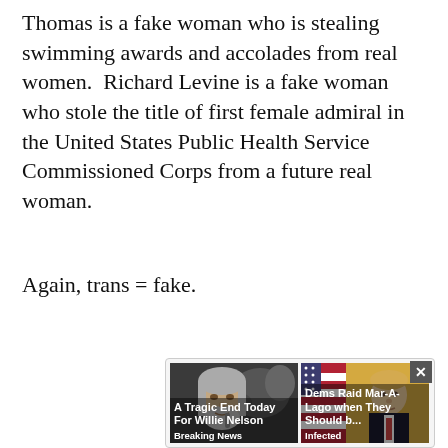Thomas is a fake woman who is stealing swimming awards and accolades from real women.  Richard Levine is a fake woman who stole the title of first female admiral in the United States Public Health Service Commissioned Corps from a future real woman.
Again, trans = fake.
[Figure (screenshot): Advertisement widget showing two clickbait news cards side by side with a close button. Left card: photo of elderly man (Willie Nelson) with caption 'A Tragic End Today For Willie Nelson' and label 'Breaking News'. Right card: photo of man in suit with caption 'Dems Raid Mar-A-Lago when They Should b...' and label 'Infected'.]